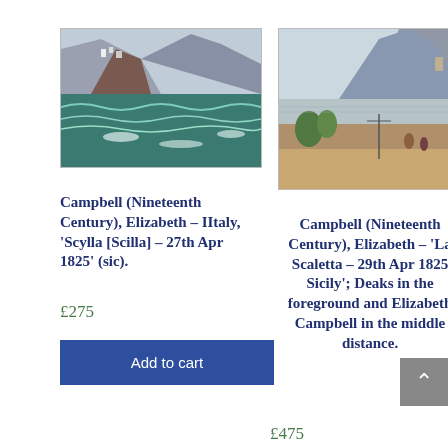[Figure (illustration): Watercolour painting of a rocky coastal scene with choppy sea, cliffs and buildings — Scylla, Italy, 1825]
[Figure (illustration): Watercolour painting of La Scaletta, Sicily, with cliffs, bay, figures in foreground — 1825]
Campbell (Nineteenth Century), Elizabeth – IItaly, 'Scylla [Scilla] – 27th Apr 1825' (sic).
Campbell (Nineteenth Century), Elizabeth – 'La Scaletta – 29th Apr 1825 Sicily'; Deaks in the foreground and Elizabeth Campbell in the middle distance.
£275
Add to cart
£475